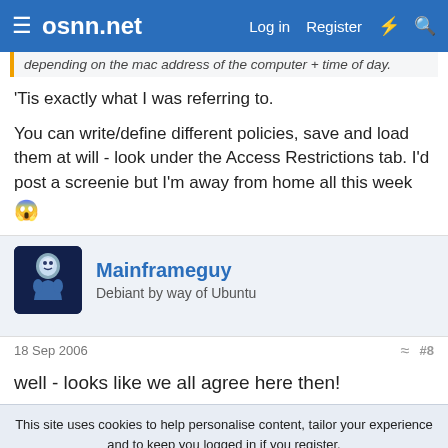osnn.net  Log in  Register
depending on the mac address of the computer + time of day.
'Tis exactly what I was referring to.

You can write/define different policies, save and load them at will - look under the Access Restrictions tab. I'd post a screenie but I'm away from home all this week 😱
Mainframeguy
Debiant by way of Ubuntu
18 Sep 2006  #8
well - looks like we all agree here then!
This site uses cookies to help personalise content, tailor your experience and to keep you logged in if you register.
By continuing to use this site, you are consenting to our use of cookies.